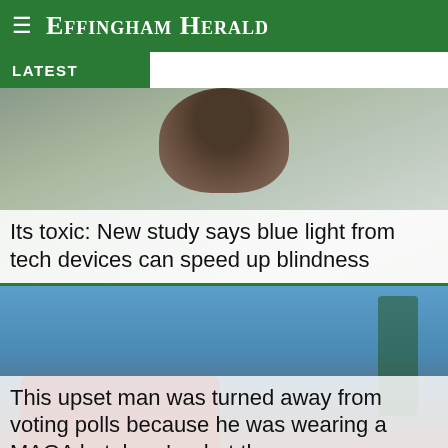Effingham Herald
LATEST
[Figure (photo): Close-up photo of a person's head/hair, slightly out of focus, dark background tones]
Its toxic: New study says blue light from tech devices can speed up blindness
[Figure (photo): Man in red MAGA-style shirt against a blue sky background with palm tree visible]
This upset man was turned away from voting polls because he was wearing a MAGA hat; here's what th
[Figure (photo): Partial photo showing the top of a person's curly hair against a grey-blue background]